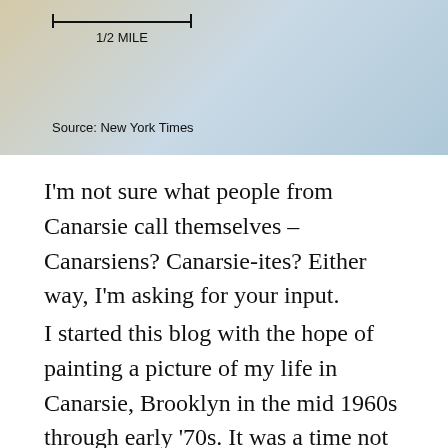[Figure (map): Partial view of a map of Canarsie, Brooklyn area with a scale bar showing 1/2 MILE and source attribution to New York Times]
Source: New York Times
I'm not sure what people from Canarsie call themselves – Canarsiens? Canarsie-ites? Either way, I'm asking for your input.
I started this blog with the hope of painting a picture of my life in Canarsie, Brooklyn in the mid 1960s through early '70s. It was a time not unlike today, in some ways. It felt fraught, dangerous even. So much was changing and violence, in the form of urban riots and crime, was lurking. I grew up acutely aware of those